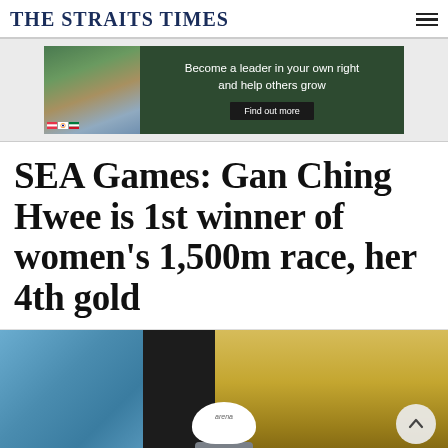THE STRAITS TIMES
[Figure (photo): Advertisement banner: 'Become a leader in your own right and help others grow' with a Find out more button, featuring a man in military uniform with flags in the background]
SEA Games: Gan Ching Hwee is 1st winner of women's 1,500m race, her 4th gold
[Figure (photo): Photo of swimmer Gan Ching Hwee at a swimming pool, wearing a white arena swim cap and goggles, with golden pool tiles in the background]